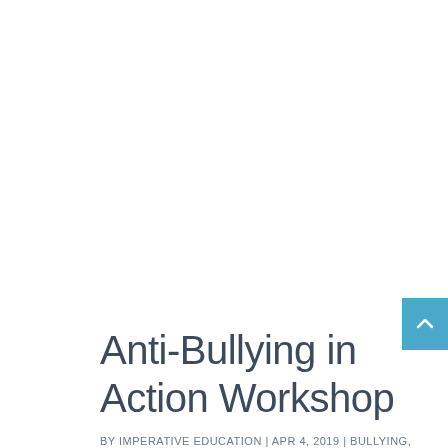Anti-Bullying in Action Workshop
BY IMPERATIVE EDUCATION | APR 4, 2019 | BULLYING, CHARACTER DEVELOPMENT, COMMUNITY,